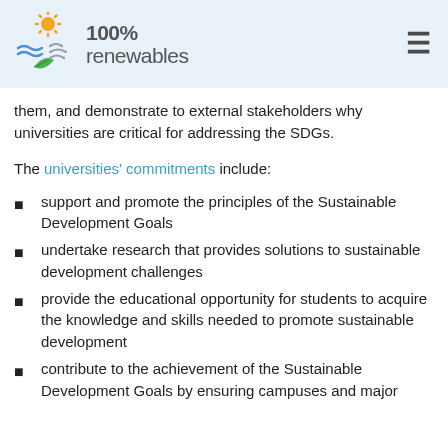[Figure (logo): 100% renewables logo with sun, water waves, leaf, and wind icons]
them, and demonstrate to external stakeholders why universities are critical for addressing the SDGs.
The universities' commitments include:
support and promote the principles of the Sustainable Development Goals
undertake research that provides solutions to sustainable development challenges
provide the educational opportunity for students to acquire the knowledge and skills needed to promote sustainable development
contribute to the achievement of the Sustainable Development Goals by ensuring campuses and major